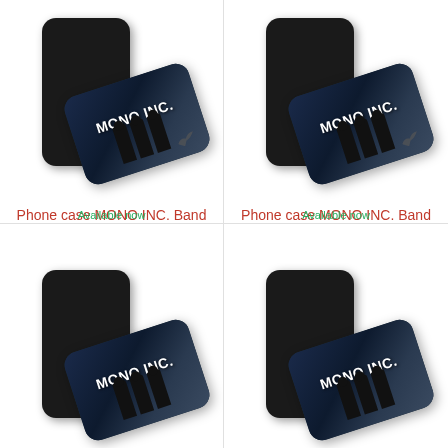[Figure (photo): Phone case product image showing a dark smartphone and a MONO INC. Band phone case at an angle]
Phone case MONO INC. Band Nokia
29,95 € *
Available now
[Figure (photo): Phone case product image showing a dark smartphone and a MONO INC. Band phone case at an angle]
Phone case MONO INC. Band Oneplus
29,95 € *
Available now
[Figure (photo): Phone case product image showing a dark smartphone and a MONO INC. Band phone case at an angle (partial)]
[Figure (photo): Phone case product image showing a dark smartphone and a MONO INC. Band phone case at an angle (partial)]